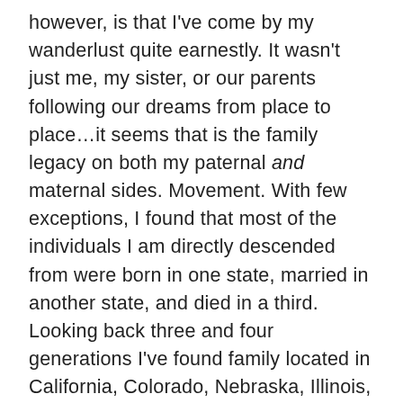however, is that I've come by my wanderlust quite earnestly. It wasn't just me, my sister, or our parents following our dreams from place to place…it seems that is the family legacy on both my paternal and maternal sides. Movement. With few exceptions, I found that most of the individuals I am directly descended from were born in one state, married in another state, and died in a third. Looking back three and four generations I've found family located in California, Colorado, Nebraska, Illinois, Missouri, Ohio, Iowa, West Virginia, Kentucky, Tennessee, New York, Maryland, Virginia and Pennsylvania. It also seems that if one sibling was going to leave the family fold, yep, you guessed it, that person would be my direct grandmother or grandfather. Instead of that big solid oak tree I've been searching for, I've discovered my family is one big hulking mass of kudzu, spreading back and